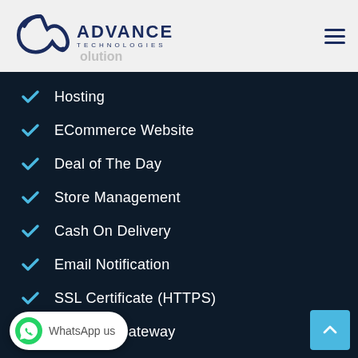Advance Technologies - logo and navigation header
Hosting
ECommerce Website
Deal of The Day
Store Management
Cash On Delivery
Email Notification
SSL Certificate (HTTPS)
Payment Gateway
Product limit 2000 PRODUCTS
Visitors limits per month 1.5L
10 GB Server_Space